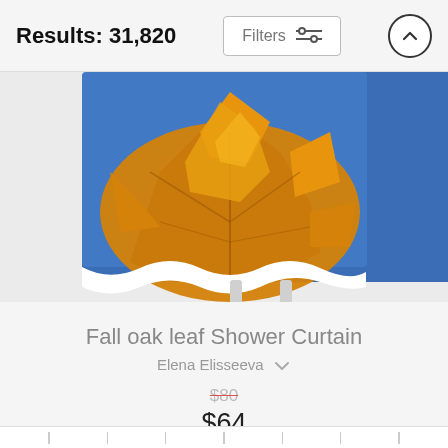Results: 31,820
[Figure (photo): Product photo of a shower curtain showing orange/yellow fall oak leaves against a blue sky background, displayed on a white curtain rod stand]
Fall oak leaf Shower Curtain
Elena Elisseeva
$80 (strikethrough original price)
$64